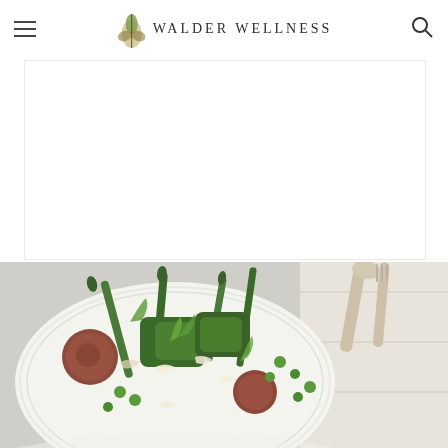WALDER WELLNESS
[Figure (photo): White rectangular banner/advertisement area with white background and light border]
[Figure (photo): Food photography showing a salad with asparagus, avocado, baby potatoes, peas, dill, and shaved parmesan in a white bowl, viewed from above on a light wooden surface with serving utensils visible]